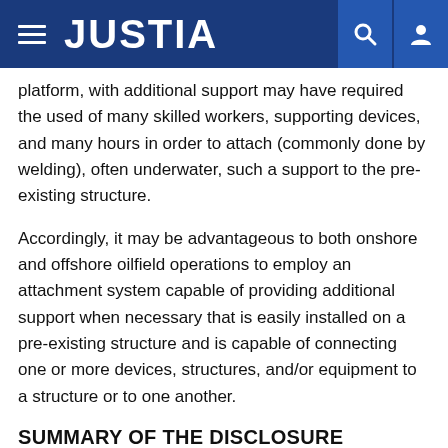JUSTIA
platform, with additional support may have required the used of many skilled workers, supporting devices, and many hours in order to attach (commonly done by welding), often underwater, such a support to the pre-existing structure.
Accordingly, it may be advantageous to both onshore and offshore oilfield operations to employ an attachment system capable of providing additional support when necessary that is easily installed on a pre-existing structure and is capable of connecting one or more devices, structures, and/or equipment to a structure or to one another.
SUMMARY OF THE DISCLOSURE
In general, in one aspect, the present disclosure relates to an attachment system for an offshore structure, the